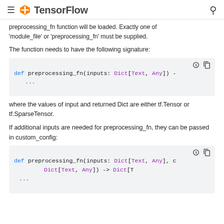TensorFlow
preprocessing_fn function will be loaded. Exactly one of 'module_file' or 'preprocessing_fn' must be supplied.
The function needs to have the following signature:
[Figure (screenshot): Code block showing: def preprocessing_fn(inputs: Dict[Text, Any]) -
    ...]
where the values of input and returned Dict are either tf.Tensor or tf.SparseTensor.
If additional inputs are needed for preprocessing_fn, they can be passed in custom_config:
[Figure (screenshot): Code block showing: def preprocessing_fn(inputs: Dict[Text, Any], c
                            Dict[Text, Any]) -> Dict[T
    ...]